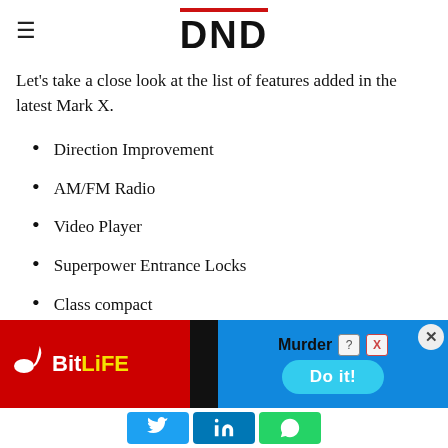DND
Let's take a close look at the list of features added in the latest Mark X.
Direction Improvement
AM/FM Radio
Video Player
Superpower Entrance Locks
Class compact
Front Fog Lights
Defogger (Rear)
Steering Adjustment
[Figure (screenshot): BitLife advertisement banner with red background, showing the BitLife logo (sperm icon + BitLife text), a diagonal banner image, Murder / Do it! text, and close button]
Social share buttons: Twitter, LinkedIn, WhatsApp